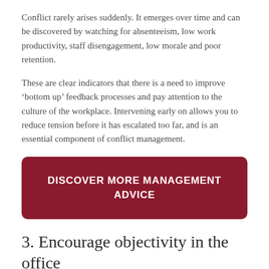Conflict rarely arises suddenly. It emerges over time and can be discovered by watching for absenteeism, low work productivity, staff disengagement, low morale and poor retention.
These are clear indicators that there is a need to improve ‘bottom up’ feedback processes and pay attention to the culture of the workplace. Intervening early on allows you to reduce tension before it has escalated too far, and is an essential component of conflict management.
[Figure (other): Dark red rounded rectangle button with white uppercase text reading 'DISCOVER MORE MANAGEMENT ADVICE']
3. Encourage objectivity in the office